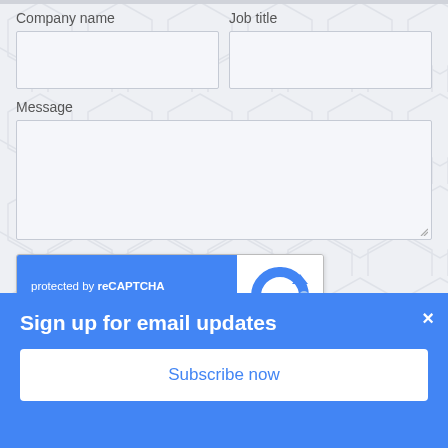Company name
Job title
Message
[Figure (screenshot): reCAPTCHA widget with blue background on left showing 'protected by reCAPTCHA' and 'Privacy · Terms', and white panel on right with Google reCAPTCHA logo]
SUBMIT
Sign up for email updates
Subscribe now